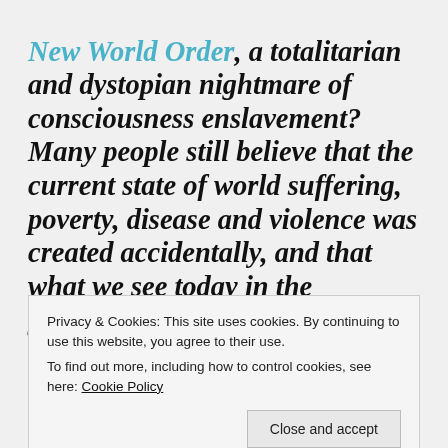New World Order, a totalitarian and dystopian nightmare of consciousness enslavement? Many people still believe that the current state of world suffering, poverty, disease and violence was created accidentally, and that what we see today in the globalscape was the organic evolution of humanity since
[Figure (screenshot): Cookie consent banner overlay with text: 'Privacy & Cookies: This site uses cookies. By continuing to use this website, you agree to their use. To find out more, including how to control cookies, see here: Cookie Policy' and a 'Close and accept' button.]
objectives, which they sought to